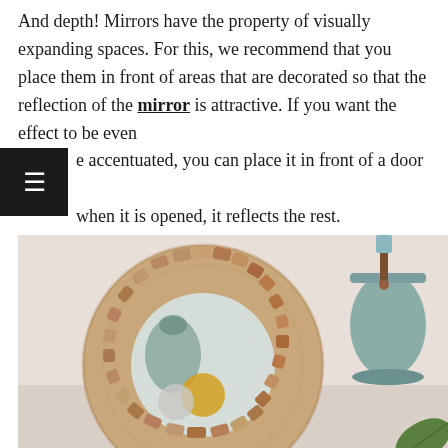And depth! Mirrors have the property of visually expanding spaces. For this, we recommend that you place them in front of areas that are decorated so that the reflection of the mirror is attractive. If you want the effect to be even more accentuated, you can place it in front of a door so that when it is opened, it reflects the rest.
[Figure (photo): A decorative round mirror with a frame made of stacked wooden logs/blocks arranged in a circular pattern. The mirror reflects a teal/sage green vase and a white knitted pouf. Next to the mirror is a sage green pendant lamp with a leather strap detail. A green plant leaf is visible in the bottom right corner.]